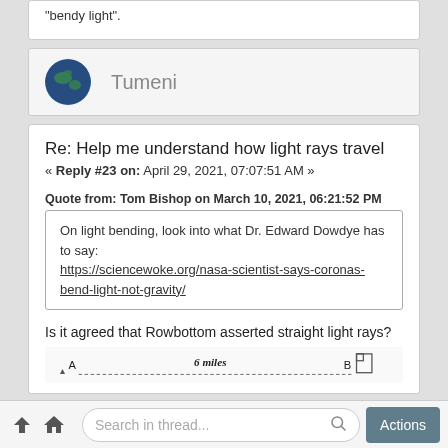"bendy light".
Tumeni
Re: Help me understand how light rays travel
« Reply #23 on: April 29, 2021, 07:07:51 AM »
Quote from: Tom Bishop on March 10, 2021, 06:21:52 PM
On light bending, look into what Dr. Edward Dowdye has to say: https://sciencewoke.org/nasa-scientist-says-coronas-bend-light-not-gravity/
Is it agreed that Rowbottom asserted straight light rays?
[Figure (illustration): Partial diagram showing points A and B with '6 miles' label and geometric shapes]
Search in thread... Actions